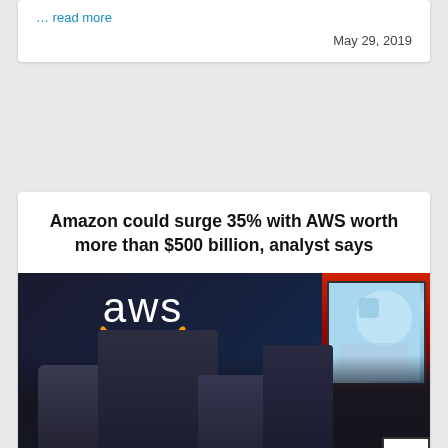... read more
May 29, 2019
Amazon could surge 35% with AWS worth more than $500 billion, analyst says
[Figure (photo): Photo of people at a conference table in front of an AWS (Amazon Web Services) logo on a dark wall, with a screen showing a tech display on the right side. An 'Investing' label badge appears at the bottom left.]